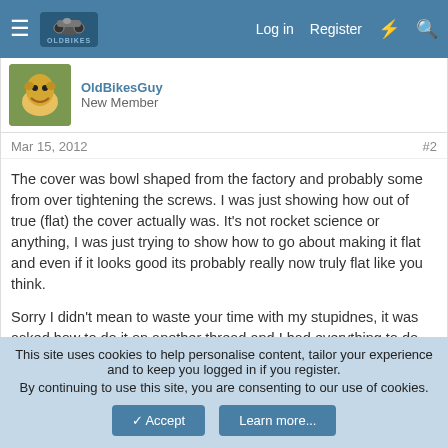OldBikes forum — Log in | Register
New Member
Mar 15, 2012  #2
The cover was bowl shaped from the factory and probably some from over tightening the screws. I was just showing how out of true (flat) the cover actually was. It's not rocket science or anything, I was just trying to show how to go about making it flat and even if it looks good its probably really now truly flat like you think.

Sorry I didn't mean to waste your time with my stupidnes, it was asked how to do it on another thread and I had everything to do one.
Again, sorry!
This site uses cookies to help personalise content, tailor your experience and to keep you logged in if you register.
By continuing to use this site, you are consenting to our use of cookies.